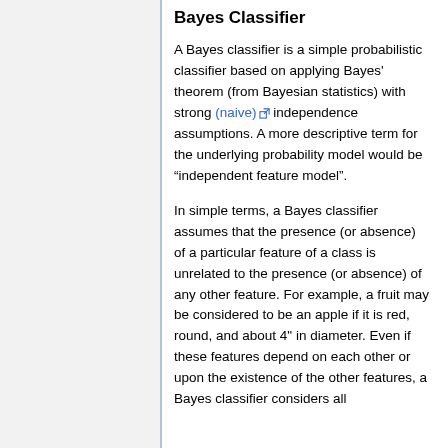Bayes Classifier
A Bayes classifier is a simple probabilistic classifier based on applying Bayes' theorem (from Bayesian statistics) with strong (naive) independence assumptions. A more descriptive term for the underlying probability model would be "independent feature model".
In simple terms, a Bayes classifier assumes that the presence (or absence) of a particular feature of a class is unrelated to the presence (or absence) of any other feature. For example, a fruit may be considered to be an apple if it is red, round, and about 4" in diameter. Even if these features depend on each other or upon the existence of the other features, a Bayes classifier considers all of these properties independently when both